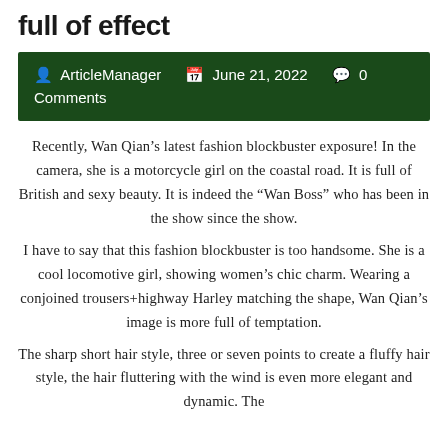full of effect
ArticleManager  June 21, 2022  0 Comments
Recently, Wan Qian’s latest fashion blockbuster exposure! In the camera, she is a motorcycle girl on the coastal road. It is full of British and sexy beauty. It is indeed the “Wan Boss” who has been in the show since the show.
I have to say that this fashion blockbuster is too handsome. She is a cool locomotive girl, showing women’s chic charm. Wearing a conjoined trousers+highway Harley matching the shape, Wan Qian’s image is more full of temptation.
The sharp short hair style, three or seven points to create a fluffy hair style, the hair fluttering with the wind is even more elegant and dynamic. The